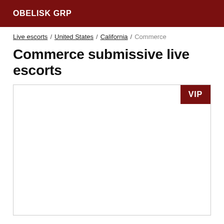OBELISK GRP
Live escorts / United States / California / Commerce
Commerce submissive live escorts
[Figure (other): Listing card with VIP badge in top-right corner, white content area]